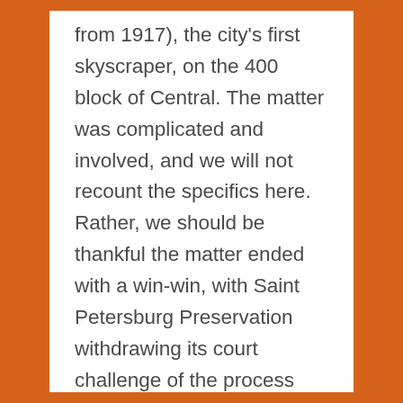from 1917), the city's first skyscraper, on the 400 block of Central. The matter was complicated and involved, and we will not recount the specifics here. Rather, we should be thankful the matter ended with a win-win, with Saint Petersburg Preservation withdrawing its court challenge of the process and its application to designate the buildings local historic landmarks, and the City and building owners committing to significant mitigation-like measures the basics of which are summarized in the sidebar. It is great to see this willingness to reason